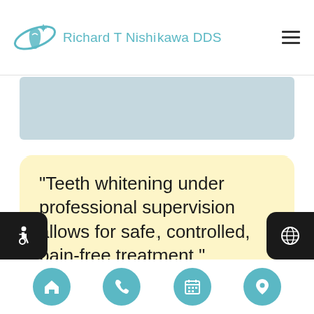Richard T Nishikawa DDS
[Figure (other): Light blue/gray banner image placeholder]
“Teeth whitening under professional supervision allows for safe, controlled, pain-free treatment.”
[Figure (other): Bottom navigation bar with home, phone, calendar, and location icons on teal circular buttons, plus accessibility and language icons]